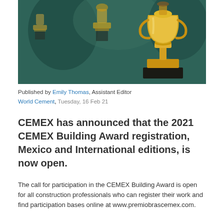[Figure (photo): Gold trophies on dark teal background, with a prominent golden trophy in the foreground on a black base]
Published by Emily Thomas, Assistant Editor
World Cement, Tuesday, 16 Feb 21
CEMEX has announced that the 2021 CEMEX Building Award registration, Mexico and International editions, is now open.
The call for participation in the CEMEX Building Award is open for all construction professionals who can register their work and find participation bases online at www.premiobrascemex.com.